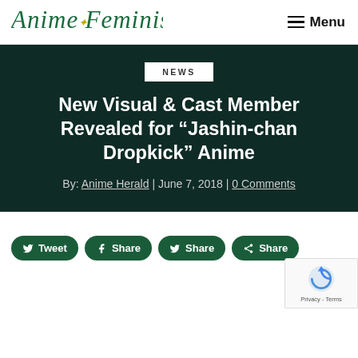Anime Feminist | Menu
NEWS
New Visual & Cast Member Revealed for “Jashin-chan Dropkick” Anime
By: Anime Herald | June 7, 2018 | 0 Comments
[Figure (other): Social share buttons: Tweet, Share (Facebook), Share (Tumblr), Share (Google+)]
[Figure (other): Google reCAPTCHA badge with Privacy and Terms links]